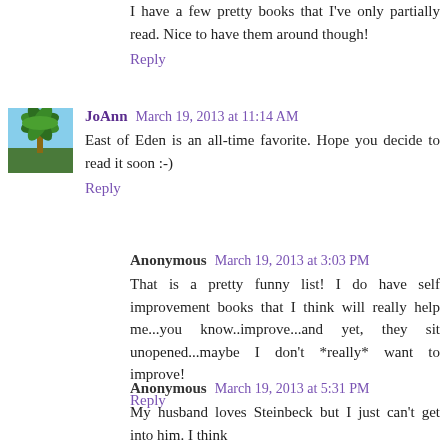I have a few pretty books that I've only partially read. Nice to have them around though!
Reply
JoAnn  March 19, 2013 at 11:14 AM
East of Eden is an all-time favorite. Hope you decide to read it soon :-)
Reply
Anonymous  March 19, 2013 at 3:03 PM
That is a pretty funny list! I do have self improvement books that I think will really help me...you know..improve...and yet, they sit unopened...maybe I don't *really* want to improve!
Reply
Anonymous  March 19, 2013 at 5:31 PM
My husband loves Steinbeck but I just can't get into him. I think East of Eden is his favorite. My mom is a big fan of his also.